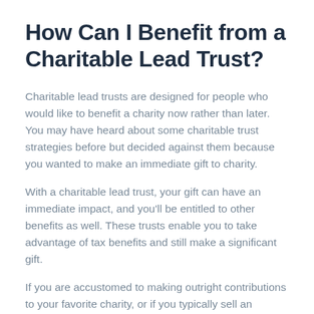How Can I Benefit from a Charitable Lead Trust?
Charitable lead trusts are designed for people who would like to benefit a charity now rather than later. You may have heard about some charitable trust strategies before but decided against them because you wanted to make an immediate gift to charity.
With a charitable lead trust, your gift can have an immediate impact, and you'll be entitled to other benefits as well. These trusts enable you to take advantage of tax benefits and still make a significant gift.
If you are accustomed to making outright contributions to your favorite charity, or if you typically sell an investment and give all or a portion of the money to charity, you may be attracted to the special advantages of using a charitable trust.